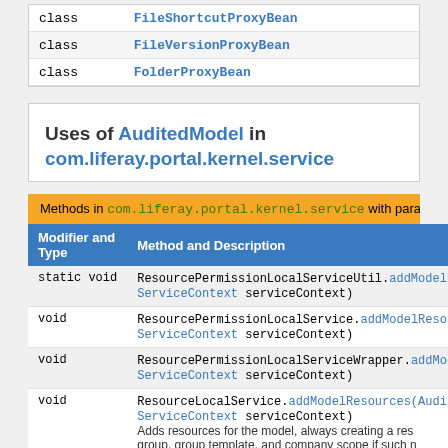|  |  |
| --- | --- |
| class | FileVersionProxyBean |
| class | FolderProxyBean |
Uses of AuditedModel in com.liferay.portal.kernel.service
| Modifier and Type | Method and Description |
| --- | --- |
| static void | ResourcePermissionLocalServiceUtil.addModelRes... ServiceContext serviceContext) |
| void | ResourcePermissionLocalService.addModelResou... ServiceContext serviceContext) |
| void | ResourcePermissionLocalServiceWrapper.addMode... ServiceContext serviceContext) |
| void | ResourceLocalService.addModelResources(Audi... ServiceContext serviceContext)
Adds resources for the model, always creating a res... group, group template, and company scope if such n... |
| void | ResourceLocalServiceWrapper.addModelResourc... ServiceContext serviceContext)
Adds resources for the model, always creating a re... |